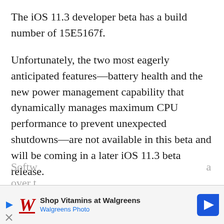The iOS 11.3 developer beta has a build number of 15E5167f.
Unfortunately, the two most eagerly anticipated features—battery health and the new power management capability that dynamically manages maximum CPU performance to prevent unexpected shutdowns—are not available in this beta and will be coming in a later iOS 11.3 beta release.
To install the beta, install an appropriate Apple configuration profile for your iOS device from the company's portal for developers, then restart the device and go to Settings → General → Software... a over t...
[Figure (other): Advertisement banner for Walgreens Photo showing the Walgreens cursive logo, text 'Shop Vitamins at Walgreens' and 'Walgreens Photo', with a blue navigation arrow icon on the right.]